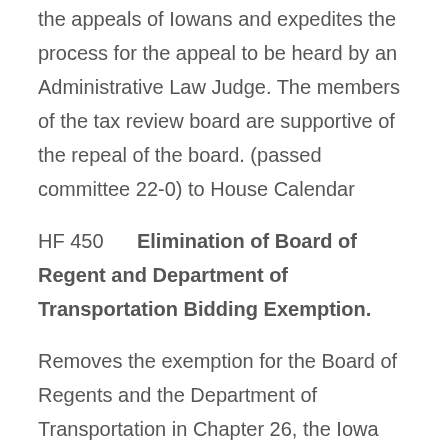the appeals of Iowans and expedites the process for the appeal to be heard by an Administrative Law Judge. The members of the tax review board are supportive of the repeal of the board. (passed committee 22-0) to House Calendar
HF 450   Elimination of Board of Regent and Department of Transportation Bidding Exemption.
Removes the exemption for the Board of Regents and the Department of Transportation in Chapter 26, the Iowa Bidding Procedures Act. (passed Committee 12-10) to House Calendar.